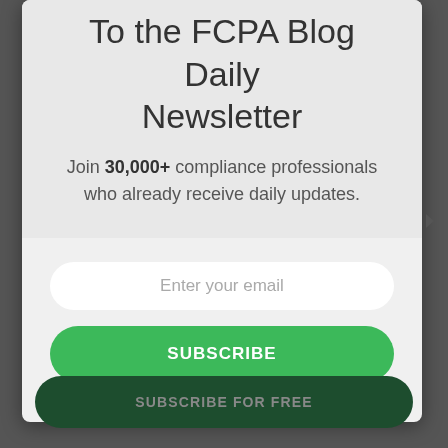To the FCPA Blog Daily Newsletter
Join 30,000+ compliance professionals who already receive daily updates.
Enter your email
SUBSCRIBE
SUBSCRIBE FOR FREE